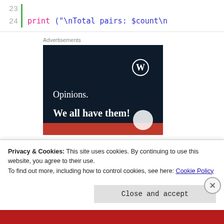[Figure (screenshot): Code editor snippet showing lines 23-24. Line 24 contains: print ("\nTotal pairs: $count\n]
Advertisements
[Figure (illustration): WordPress advertisement banner with dark navy background. Shows WordPress logo (W in circle) top right. Text reads: 'Opinions. We all have them!' in white serif font. Red bar at bottom with white circle accent.]
Privacy & Cookies: This site uses cookies. By continuing to use this website, you agree to their use.
To find out more, including how to control cookies, see here: Cookie Policy
Close and accept